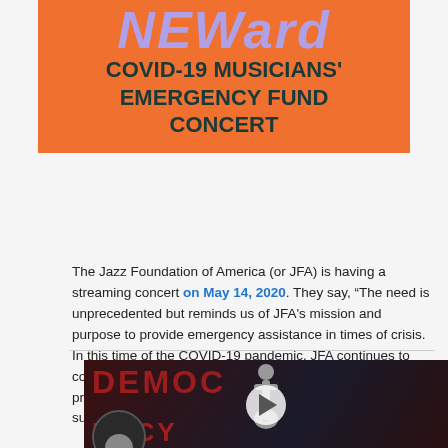[Figure (illustration): Orange banner with large stylized 'NEWard' text at top in light purple/lavender and bold dark teal text reading 'COVID-19 MUSICIANS' EMERGENCY FUND CONCERT']
The Jazz Foundation of America (or JFA) is having a streaming concert on May 14, 2020. They say, “The need is unprecedented but reminds us of JFA's mission and purpose to provide emergency assistance in times of crisis. In this time of the COVID-19 pandemic, JFA continues to connect with hundreds of jazz and blues musicians to provide compassionate counsel and offer direct financial support.”
[Figure (screenshot): Video thumbnail showing a dark scene with red 'DEMOC...' text overlay and a gray guitarist silhouette figure, with a white play button circle in the center and a circular badge at the bottom left]